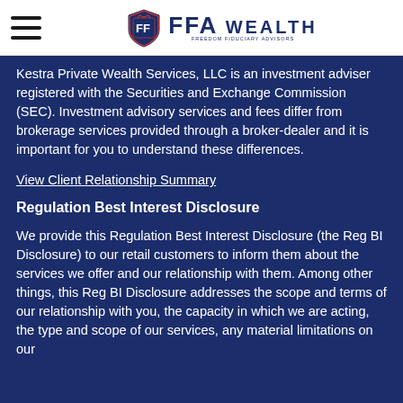FFA WEALTH
Kestra Private Wealth Services, LLC is an investment adviser registered with the Securities and Exchange Commission (SEC). Investment advisory services and fees differ from brokerage services provided through a broker-dealer and it is important for you to understand these differences.
View Client Relationship Summary
Regulation Best Interest Disclosure
We provide this Regulation Best Interest Disclosure (the Reg BI Disclosure) to our retail customers to inform them about the services we offer and our relationship with them. Among other things, this Reg BI Disclosure addresses the scope and terms of our relationship with you, the capacity in which we are acting, the type and scope of our services, any material limitations on our